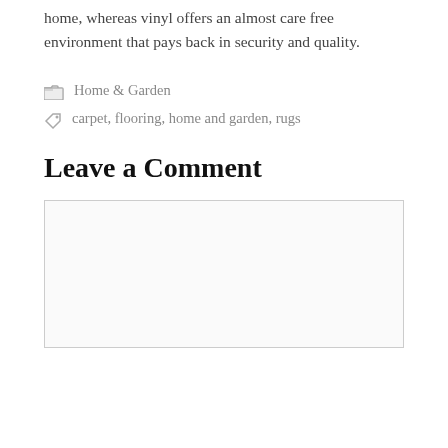home, whereas vinyl offers an almost care free environment that pays back in security and quality.
Home & Garden
carpet, flooring, home and garden, rugs
Leave a Comment